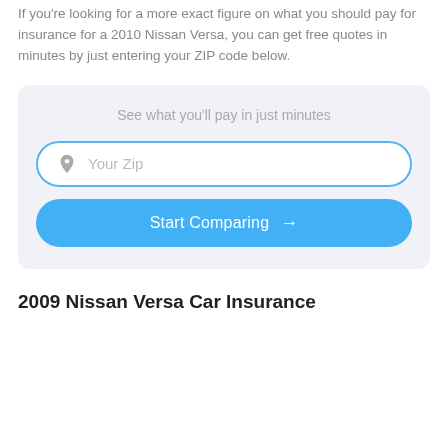If you're looking for a more exact figure on what you should pay for insurance for a 2010 Nissan Versa, you can get free quotes in minutes by just entering your ZIP code below.
[Figure (infographic): ZIP code entry widget with 'See what you'll pay in just minutes' heading, a ZIP input field with a pin icon, and a blue 'Start Comparing →' button]
2009 Nissan Versa Car Insurance